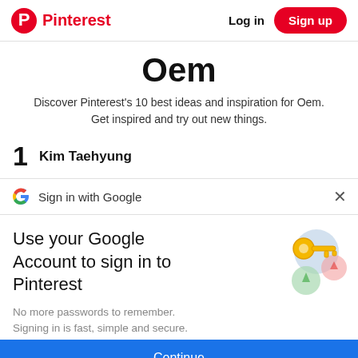Pinterest | Log in | Sign up
Oem
Discover Pinterest's 10 best ideas and inspiration for Oem. Get inspired and try out new things.
1  Kim Taehyung
Sign in with Google
Use your Google Account to sign in to Pinterest
No more passwords to remember. Signing in is fast, simple and secure.
Continue